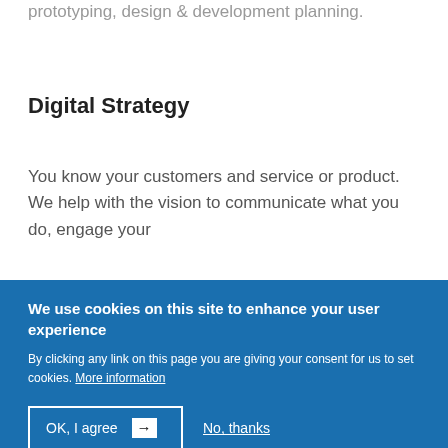prototyping, design & development planning.
Digital Strategy
You know your customers and service or product. We help with the vision to communicate what you do, engage your
We use cookies on this site to enhance your user experience

By clicking any link on this page you are giving your consent for us to set cookies. More information

OK, I agree → No, thanks